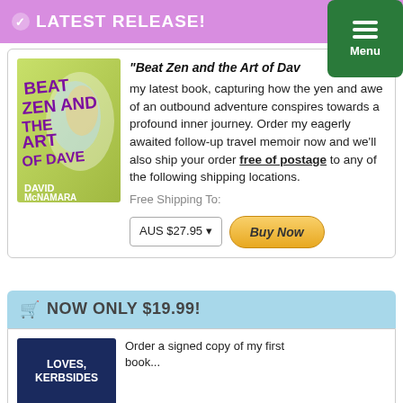LATEST RELEASE!
"Beat Zen and the Art of Dave" my latest book, capturing how the yen and awe of an outbound adventure conspires towards a profound inner journey. Order my eagerly awaited follow-up travel memoir now and we'll also ship your order free of postage to any of the following shipping locations. Free Shipping To:
[Figure (illustration): Book cover for 'Beat Zen and the Art of Dave' by David McNamara - colorful illustrated cover with bold graffiti-style text]
AUS $27.95 | Buy Now
NOW ONLY $19.99!
[Figure (illustration): Book cover for 'Loves, Kerbsides' - dark navy blue cover with white text]
Order a signed copy of my first book...